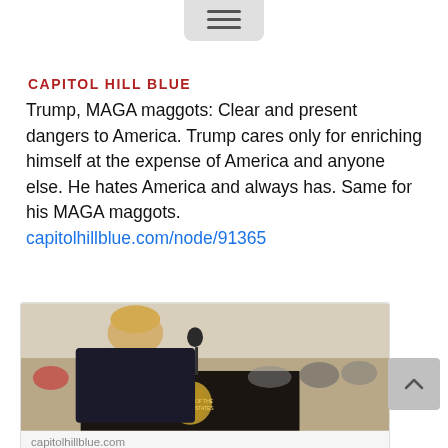CAPITOL HILL BLUE
Trump, MAGA maggots: Clear and present dangers to America. Trump cares only for enriching himself at the expense of America and anyone else. He hates America and always has. Same for his MAGA maggots.
capitolhillblue.com/node/91365
[Figure (photo): Trump speaking at a podium with the presidential seal, crowd in background]
capitolhillblue.com
Trump's MAGA maggots: Clear and present dangers to America